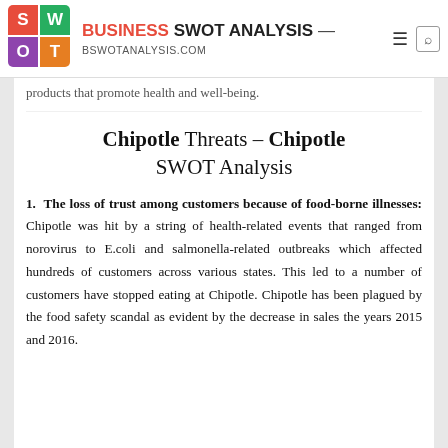BUSINESS SWOT ANALYSIS — BSWOTANALYSIS.COM
products that promote health and well-being.
Chipotle Threats – Chipotle SWOT Analysis
1. The loss of trust among customers because of food-borne illnesses: Chipotle was hit by a string of health-related events that ranged from norovirus to E.coli and salmonella-related outbreaks which affected hundreds of customers across various states. This led to a number of customers have stopped eating at Chipotle. Chipotle has been plagued by the food safety scandal as evident by the decrease in sales the years 2015 and 2016.